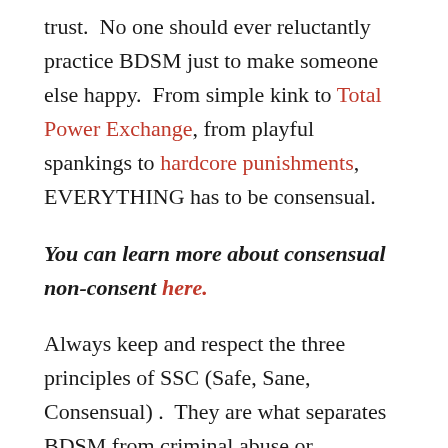trust.  No one should ever reluctantly practice BDSM just to make someone else happy.  From simple kink to Total Power Exchange, from playful spankings to hardcore punishments, EVERYTHING has to be consensual.
You can learn more about consensual non-consent here.
Always keep and respect the three principles of SSC (Safe, Sane, Consensual) .  They are what separates BDSM from criminal abuse or